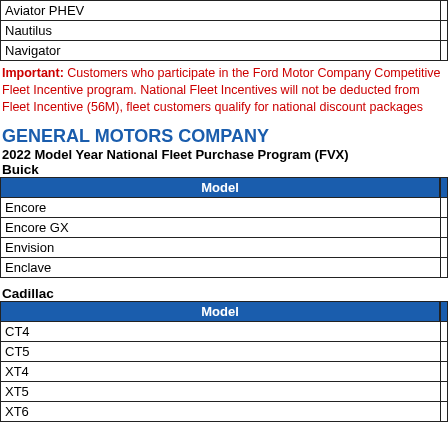| Model |
| --- |
| Aviator PHEV |
| Nautilus |
| Navigator |
Important: Customers who participate in the Ford Motor Company Competitive Fleet Incentive program. National Fleet Incentives will not be deducted from Fleet Incentive (56M), fleet customers qualify for national discount packages
GENERAL MOTORS COMPANY
2022 Model Year National Fleet Purchase Program (FVX)
Buick
| Model |
| --- |
| Encore |
| Encore GX |
| Envision |
| Enclave |
Cadillac
| Model |
| --- |
| CT4 |
| CT5 |
| XT4 |
| XT5 |
| XT6 |